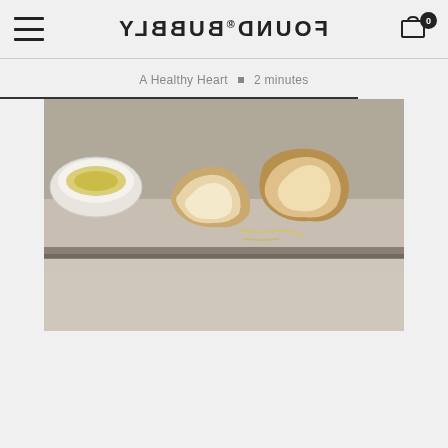FOUND® BUBBLY (mirrored logo) — hamburger menu, cart icon with badge 0
A Healthy Heart  ■  2 minutes
[Figure (photo): Close-up photo of pieces of torn bread on a marble/stone surface with a small white bowl containing olive oil in the background, viewed from low angle]